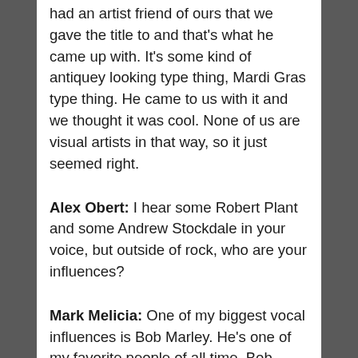had an artist friend of ours that we gave the title to and that's what he came up with. It's some kind of antiquey looking type thing, Mardi Gras type thing. He came to us with it and we thought it was cool. None of us are visual artists in that way, so it just seemed right.
Alex Obert: I hear some Robert Plant and some Andrew Stockdale in your voice, but outside of rock, who are your influences?
Mark Melicia: One of my biggest vocal influences is Bob Marley. He's one of my favorite people of all time. Bob